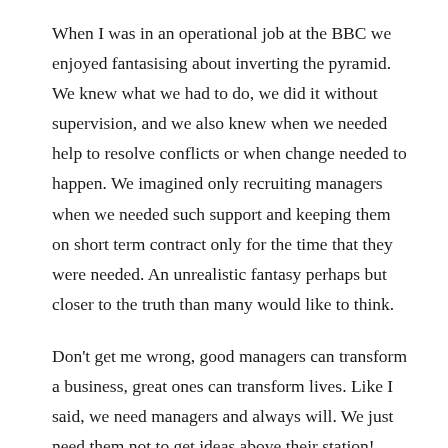When I was in an operational job at the BBC we enjoyed fantasising about inverting the pyramid. We knew what we had to do, we did it without supervision, and we also knew when we needed help to resolve conflicts or when change needed to happen. We imagined only recruiting managers when we needed such support and keeping them on short term contract only for the time that they were needed. An unrealistic fantasy perhaps but closer to the truth than many would like to think.
Don't get me wrong, good managers can transform a business, great ones can transform lives. Like I said, we need managers and always will. We just need them not to get ideas above their station!